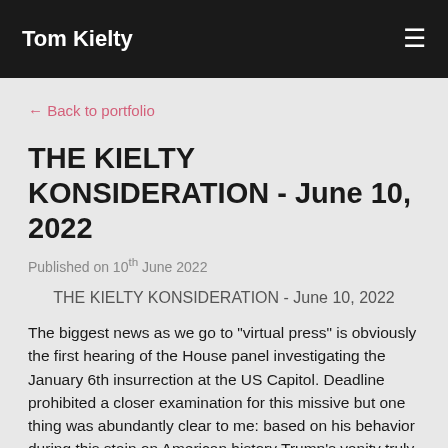Tom Kielty
← Back to portfolio
THE KIELTY KONSIDERATION - June 10, 2022
Published on 10th June 2022
THE KIELTY KONSIDERATION - June 10, 2022
The biggest news as we go to "virtual press" is obviously the first hearing of the House panel investigating the January 6th insurrection at the US Capitol.  Deadline prohibited a closer examination for this missive but one thing was abundantly clear to me: based on his behavior during this stain on American history Trump's vanity truly has to be taken into question.  No one in their